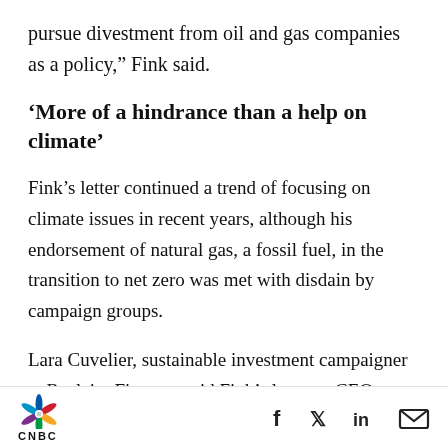pursue divestment from oil and gas companies as a policy,” Fink said.
‘More of a hindrance than a help on climate’
Fink’s letter continued a trend of focusing on climate issues in recent years, although his endorsement of natural gas, a fossil fuel, in the transition to net zero was met with disdain by campaign groups.
Lara Cuvelier, sustainable investment campaigner at Reclaim Finance, said Fink’s letter to CEOs showed BlackRock to be “more of a
CNBC